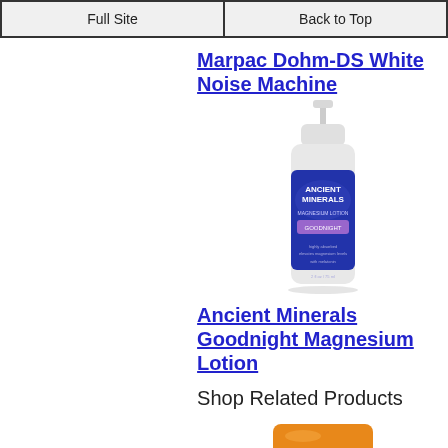Full Site | Back to Top
Marpac Dohm-DS White Noise Machine
[Figure (photo): Ancient Minerals Goodnight Magnesium Lotion pump bottle with blue and purple label]
Ancient Minerals Goodnight Magnesium Lotion
Shop Related Products
[Figure (photo): Orange colored product partially visible at bottom of page]